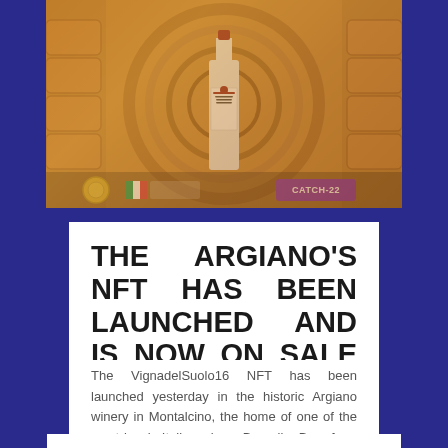[Figure (photo): Wine bottle (VignadelSuolo16) standing upright on a background of wine barrels/cellar. Bottom bar shows a gold medal, award badges, and a purple 'CATCH-22' label.]
THE ARGIANO’S NFT HAS BEEN LAUNCHED AND IS NOW ON SALE
The VignadelSuolo16 NFT has been launched yesterday in the historic Argiano winery in Montalcino, the home of one of the most iconic Italian wines: Brunello. Born from the collaboration between Argiano and the Italian Wine Crypto Bank the NFT is dedicated to a jewel…